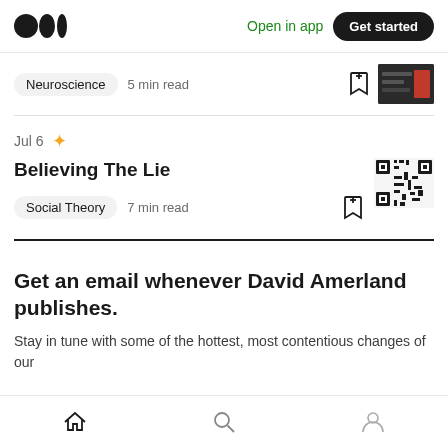Open in app  Get started
Neuroscience  5 min read
Jul 6
Believing The Lie
Social Theory  7 min read
Get an email whenever David Amerland publishes.
Stay in tune with some of the hottest, most contentious changes of our